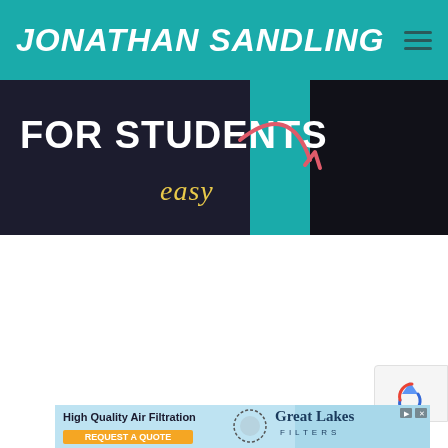JONATHAN SANDLING
[Figure (screenshot): Website banner showing dark chalkboard background with white bold text 'FOR STUDENTS' and cursive gold text 'easy' with a coral/pink curved arrow on teal background]
[Figure (other): reCAPTCHA badge icon]
[Figure (other): Great Lakes Filters advertisement banner: 'High Quality Air Filtration' with Great Lakes Filters logo and 'REQUEST A QUOTE' button]